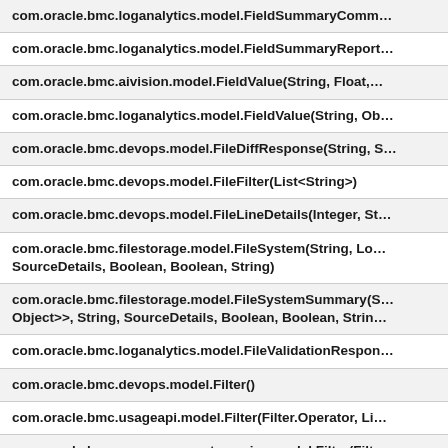| com.oracle.bmc.loganalytics.model.FieldSummaryComm… |
| com.oracle.bmc.loganalytics.model.FieldSummaryReport… |
| com.oracle.bmc.aivision.model.FieldValue(String, Float,… |
| com.oracle.bmc.loganalytics.model.FieldValue(String, Ob… |
| com.oracle.bmc.devops.model.FileDiffResponse(String, S… |
| com.oracle.bmc.devops.model.FileFilter(List<String>) |
| com.oracle.bmc.devops.model.FileLineDetails(Integer, St… |
| com.oracle.bmc.filestorage.model.FileSystem(String, Lo… SourceDetails, Boolean, Boolean, String) |
| com.oracle.bmc.filestorage.model.FileSystemSummary(S… Object>>, String, SourceDetails, Boolean, Boolean, Strin… |
| com.oracle.bmc.loganalytics.model.FileValidationRespon… |
| com.oracle.bmc.devops.model.Filter() |
| com.oracle.bmc.usageapi.model.Filter(Filter.Operator, Li… |
| com.oracle.bmc.announcementsservice.model.Filter(Filte… |
| com.oracle.bmc.loganalytics.model.Filter(String, List<Ob… |
| com.oracle.bmc.dataintegration.model.Filter(String, fi… |